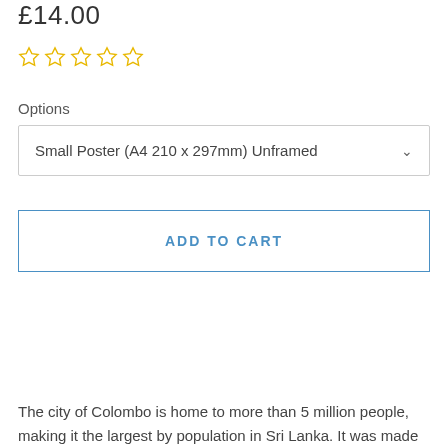£14.00
[Figure (other): Five empty star rating icons in gold/yellow outline]
Options
Small Poster (A4 210 x 297mm) Unframed
ADD TO CART
The city of Colombo is home to more than 5 million people, making it the largest by population in Sri Lanka. It was made